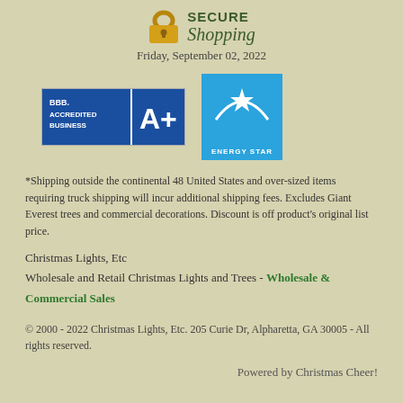[Figure (logo): Secure Shopping header with padlock icon and green text reading SECURE Shopping]
Friday, September 02, 2022
[Figure (logo): BBB Accredited Business A+ badge (blue) and ENERGY STAR badge (blue with star)]
*Shipping outside the continental 48 United States and over-sized items requiring truck shipping will incur additional shipping fees. Excludes Giant Everest trees and commercial decorations. Discount is off product's original list price.
Christmas Lights, Etc
Wholesale and Retail Christmas Lights and Trees - Wholesale & Commercial Sales
© 2000 - 2022 Christmas Lights, Etc. 205 Curie Dr, Alpharetta, GA 30005 - All rights reserved.
Powered by Christmas Cheer!